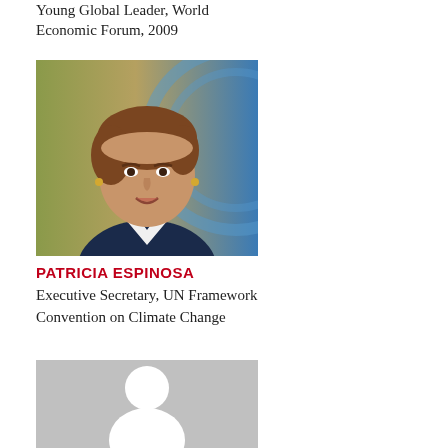Young Global Leader, World Economic Forum, 2009
[Figure (photo): Portrait photo of Patricia Espinosa, a woman with short brown hair, smiling, with a UN circular emblem visible in the background]
PATRICIA ESPINOSA
Executive Secretary, UN Framework Convention on Climate Change
[Figure (photo): Gray placeholder silhouette image representing a person]